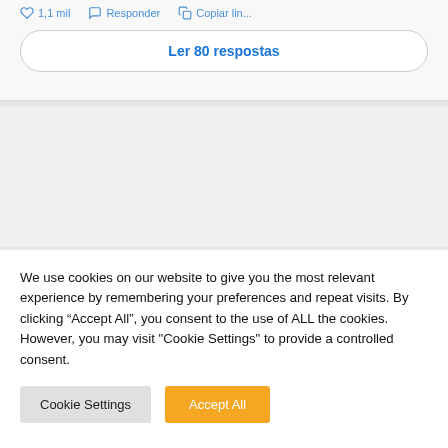[Figure (screenshot): Top section of a social media post interface showing action bar icons (like, reply, copy) with counts, and a 'Ler 80 respostas' button in a rounded border, followed by a gray separator bar.]
We use cookies on our website to give you the most relevant experience by remembering your preferences and repeat visits. By clicking “Accept All”, you consent to the use of ALL the cookies. However, you may visit "Cookie Settings" to provide a controlled consent.
Cookie Settings
Accept All